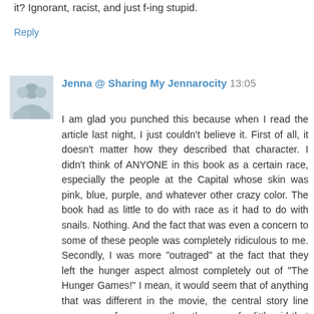it? Ignorant, racist, and just f-ing stupid.
Reply
Jenna @ Sharing My Jennarocity 13:05
I am glad you punched this because when I read the article last night, I just couldn't believe it. First of all, it doesn't matter how they described that character. I didn't think of ANYONE in this book as a certain race, especially the people at the Capital whose skin was pink, blue, purple, and whatever other crazy color. The book had as little to do with race as it had to do with snails. Nothing. And the fact that was even a concern to some of these people was completely ridiculous to me. Secondly, I was more "outraged" at the fact that they left the hunger aspect almost completely out of "The Hunger Games!" I mean, it would seem that of anything that was different in the movie, the central story line was more of a concern than the race of a little girl that was meant to be symbolic of the evil of this "futuristic" world, not. Her race had nothing to do with it. Call me crazy, but with the attitude of some of these people, we are already living in a world that is this